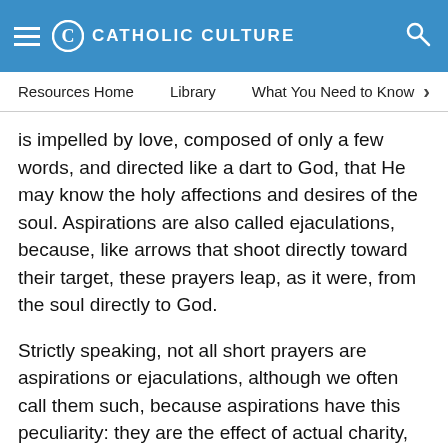CATHOLIC CULTURE
Resources Home   Library   What You Need to Know
is impelled by love, composed of only a few words, and directed like a dart to God, that He may know the holy affections and desires of the soul. Aspirations are also called ejaculations, because, like arrows that shoot directly toward their target, these prayers leap, as it were, from the soul directly to God.
Strictly speaking, not all short prayers are aspirations or ejaculations, although we often call them such, because aspirations have this peculiarity: they are the effect of actual charity, expressions of love that burns in the soul. We know that some short prayers are able to be motivated by faith and hope without charity. For example, a person in mortal sin might call out to God to be relieved from terrible physical pain. Such a prayer, motivated by faith and hope in the power of